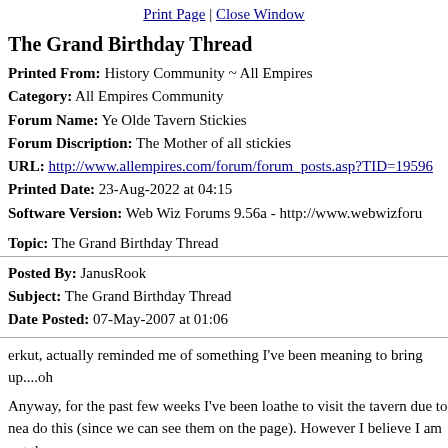Print Page | Close Window
The Grand Birthday Thread
Printed From: History Community ~ All Empires
Category: All Empires Community
Forum Name: Ye Olde Tavern Stickies
Forum Discription: The Mother of all stickies
URL: http://www.allempires.com/forum/forum_posts.asp?TID=19596
Printed Date: 23-Aug-2022 at 04:15
Software Version: Web Wiz Forums 9.56a - http://www.webwizforu
Topic: The Grand Birthday Thread
Posted By: JanusRook
Subject: The Grand Birthday Thread
Date Posted: 07-May-2007 at 01:06
erkut, actually reminded me of something I've been meaning to bring up....oh
Anyway, for the past few weeks I've been loathe to visit the tavern due to nea do this (since we can see them on the page). However I believe I am not the
That is why I am proposing a Grand Birthday Thread where everyone can po